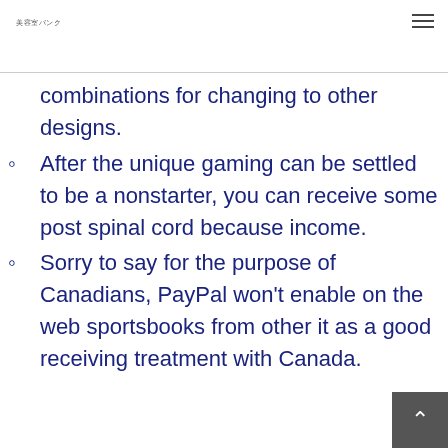美容室バンク
combinations for changing to other designs.
After the unique gaming can be settled to be a nonstarter, you can receive some post spinal cord because income.
Sorry to say for the purpose of Canadians, PayPal won't enable on the web sportsbooks from other it as a good receiving treatment with Canada.